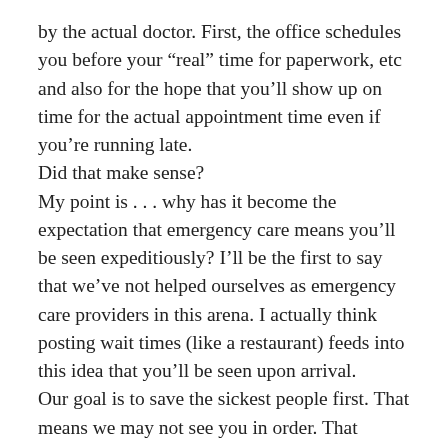by the actual doctor. First, the office schedules you before your “real” time for paperwork, etc and also for the hope that you’ll show up on time for the actual appointment time even if you’re running late. Did that make sense? My point is . . . why has it become the expectation that emergency care means you’ll be seen expeditiously? I’ll be the first to say that we’ve not helped ourselves as emergency care providers in this arena. I actually think posting wait times (like a restaurant) feeds into this idea that you’ll be seen upon arrival. Our goal is to save the sickest people first. That means we may not see you in order. That means we may not get to you in the hour you’ve allotted for your emergency care to take place. In my experience, most patients want to be seen by the